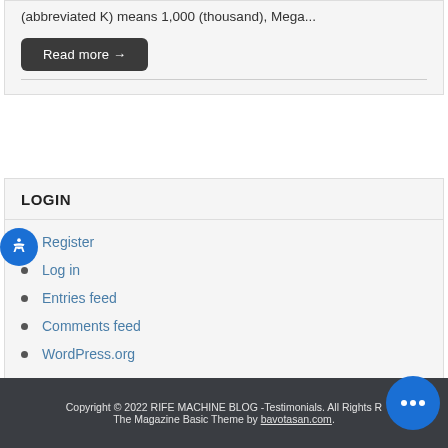(abbreviated K) means 1,000 (thousand), Mega...
Read more →
LOGIN
Register
Log in
Entries feed
Comments feed
WordPress.org
Copyright © 2022 RIFE MACHINE BLOG -Testimonials. All Rights R... The Magazine Basic Theme by bavotasan.com.